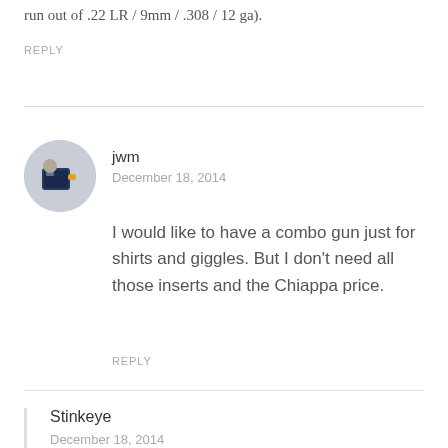run out of .22 LR / 9mm / .308 / 12 ga).
REPLY
jwm
December 18, 2014
I would like to have a combo gun just for shirts and giggles. But I don’t need all those inserts and the Chiappa price.
REPLY
Stinkeye
December 18, 2014